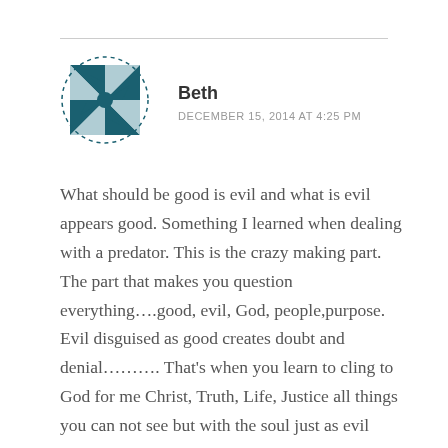[Figure (illustration): Quilt/pinwheel avatar icon in dark teal with dashed circular border]
Beth
DECEMBER 15, 2014 AT 4:25 PM
What should be good is evil and what is evil appears good. Something I learned when dealing with a predator. This is the crazy making part. The part that makes you question everything….good, evil, God, people,purpose. Evil disguised as good creates doubt and denial………. That's when you learn to cling to God for me Christ, Truth, Life, Justice all things you can not see but with the soul just as evil needs to be discerned with an awake soul. That's why I love the St MIchael prayer the devil is looking in the end to devour souls and behind every evil act is